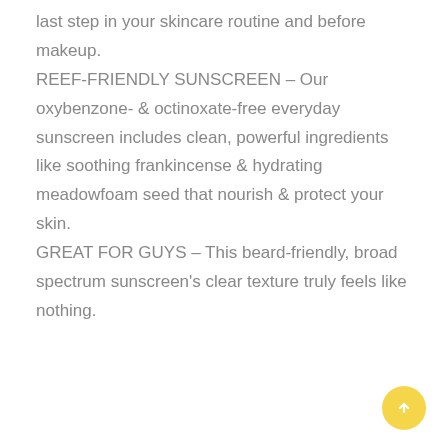last step in your skincare routine and before makeup. REEF-FRIENDLY SUNSCREEN - Our oxybenzone- & octinoxate-free everyday sunscreen includes clean, powerful ingredients like soothing frankincense & hydrating meadowfoam seed that nourish & protect your skin. GREAT FOR GUYS - This beard-friendly, broad spectrum sunscreen's clear texture truly feels like nothing.